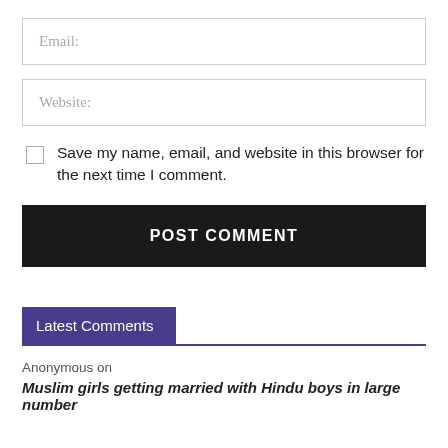Email:
Website:
Save my name, email, and website in this browser for the next time I comment.
POST COMMENT
Latest Comments
Anonymous on
Muslim girls getting married with Hindu boys in large number